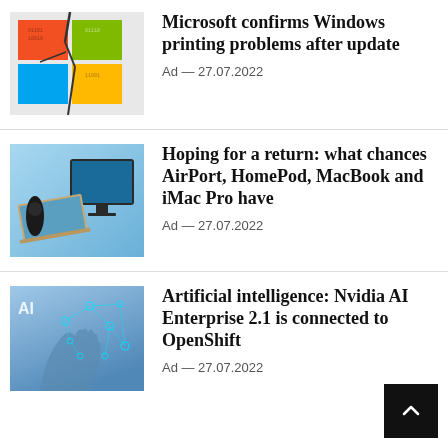[Figure (photo): Cracked Windows logo with colorful tiles and binary code overlay]
Microsoft confirms Windows printing problems after update
Ad — 27.07.2022
[Figure (photo): Apple products: MacBook, iMac Pro, HomePod on blue gradient background]
Hoping for a return: what chances AirPort, HomePod, MacBook and iMac Pro have
Ad — 27.07.2022
[Figure (photo): AI concept image: human hand with glowing neural network and AI text on blue background]
Artificial intelligence: Nvidia AI Enterprise 2.1 is connected to OpenShift
Ad — 27.07.2022